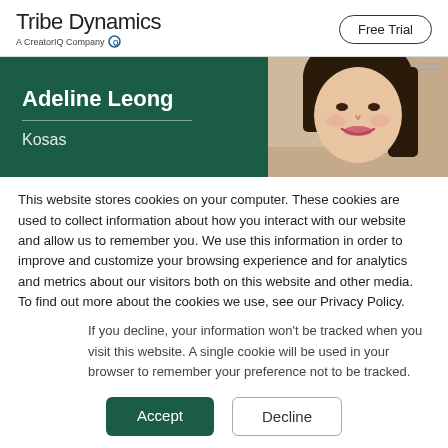Tribe Dynamics — A CreatorIQ Company | Free Trial
[Figure (photo): Profile card for Adeline Leong, Kosas — green left panel with name and brand, right panel showing a photo of a smiling woman with dark hair]
This website stores cookies on your computer. These cookies are used to collect information about how you interact with our website and allow us to remember you. We use this information in order to improve and customize your browsing experience and for analytics and metrics about our visitors both on this website and other media. To find out more about the cookies we use, see our Privacy Policy.
If you decline, your information won't be tracked when you visit this website. A single cookie will be used in your browser to remember your preference not to be tracked.
Accept   Decline